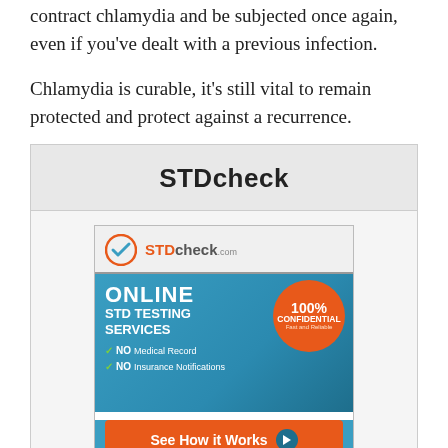contract chlamydia and be subjected once again, even if you've dealt with a previous infection.
Chlamydia is curable, it's still vital to remain protected and protect against a recurrence.
STDcheck
[Figure (advertisement): STDcheck.com advertisement banner showing online STD testing services, 100% confidential, fast and reliable, no medical record, no insurance notifications, with a 'See How it Works' button]